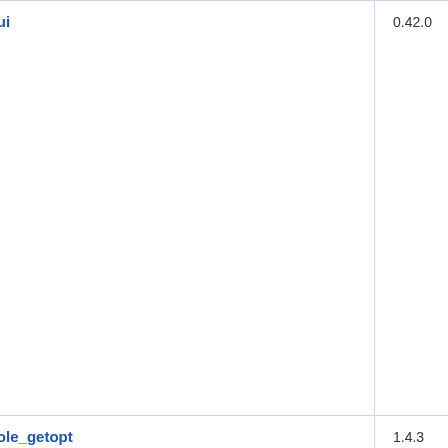| Package | Version | License |
| --- | --- | --- |
| oojs/oojs-ui | 0.42.0 | MIT |
| pear/console_getopt | 1.4.3 | BSD Clause |